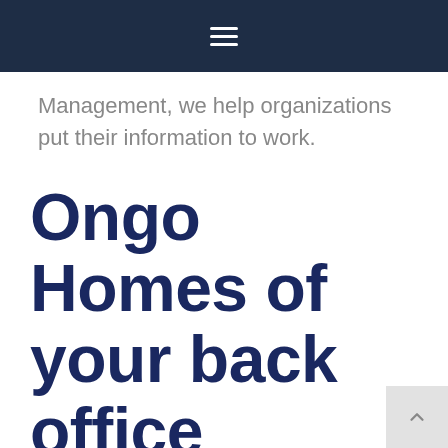≡
Management, we help organizations put their information to work.
Ongo Homes of your back office systems provides 10 000 homes for